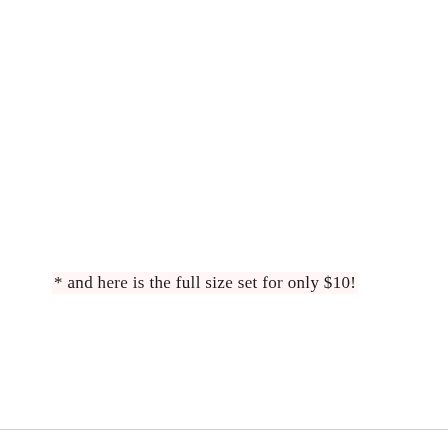* and here is the full size set for only $10!